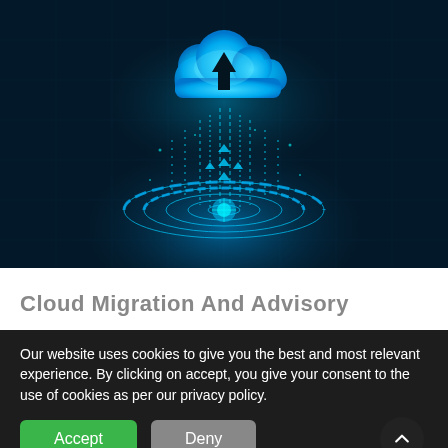[Figure (illustration): Dark blue tech background illustration showing a glowing blue cloud with an upward arrow, digital data streams flowing upward into the cloud from a circular holographic platform, representing cloud migration technology]
Cloud Migration And Advisory
Our website uses cookies to give you the best and most relevant experience. By clicking on accept, you give your consent to the use of cookies as per our privacy policy.